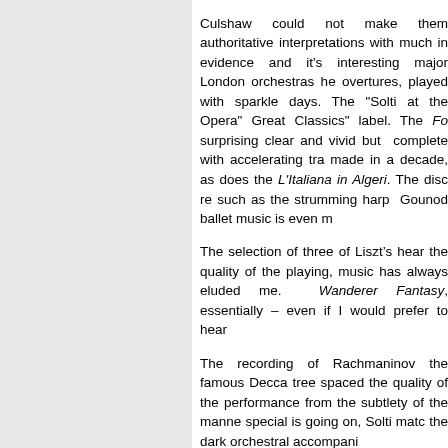Culshaw could not make them authoritative interpretations with much in evidence and it's interesting major London orchestras he overtures, played with sparkle days. The "Solti at the Opera" Great Classics" label. The Fo surprising clear and vivid but complete with accelerating tra made in a decade, as does the L'Italiana in Algeri. The disc re such as the strumming harp Gounod ballet music is even m
The selection of three of Liszt's hear the quality of the playing, music has always eluded me. Wanderer Fantasy, essentially – even if I would prefer to hear
The recording of Rachmaninov the famous Decca tree spaced the quality of the performance from the subtlety of the manne special is going on, Solti matc the dark orchestral accompani